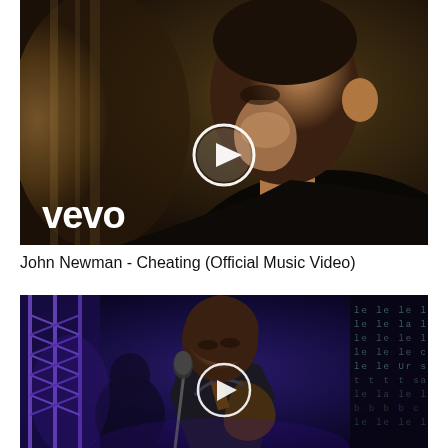[Figure (screenshot): Video thumbnail for John Newman - Cheating (Official Music Video) on Vevo. Shows a young man's face in dramatic lighting with a white circular play button overlay and 'vevo' logo in bottom left.]
John Newman - Cheating (Official Music Video)
[Figure (screenshot): Video thumbnail showing a man playing guitar at a microphone on a stage with blue/purple lighting, with a play button overlay.]